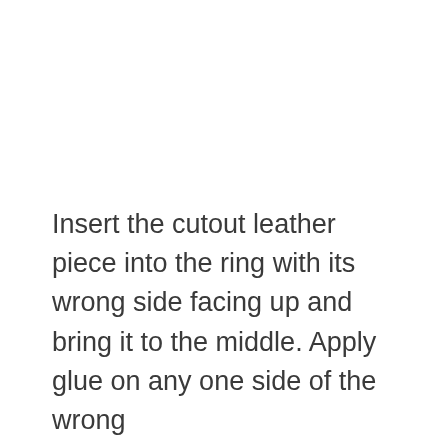Insert the cutout leather piece into the ring with its wrong side facing up and bring it to the middle. Apply glue on any one side of the wrong